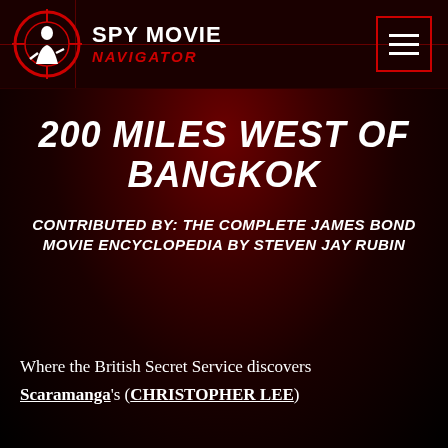SPY MOVIE NAVIGATOR
200 MILES WEST OF BANGKOK
CONTRIBUTED BY: THE COMPLETE JAMES BOND MOVIE ENCYCLOPEDIA BY STEVEN JAY RUBIN
Where the British Secret Service discovers Scaramanga's (CHRISTOPHER LEE)